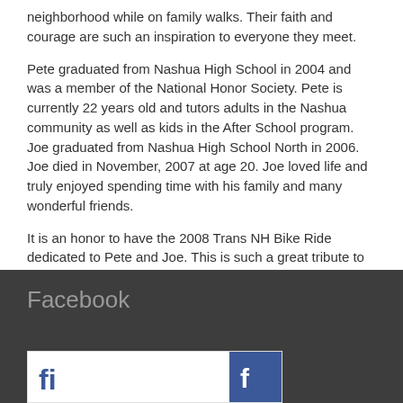neighborhood while on family walks.  Their faith and courage are such an inspiration to everyone they meet.
Pete graduated from Nashua High School in 2004 and was a member of the National Honor Society.  Pete is currently 22 years old and tutors adults in the Nashua community as well as kids in the After School program.  Joe graduated from Nashua High School North in 2006.  Joe died in November, 2007 at age 20.  Joe loved life and truly enjoyed spending time with his family and many wonderful friends.
It is an honor to have the 2008 Trans NH Bike Ride dedicated to Pete and Joe.  This is such a great tribute to Pete and a lasting memory of Joe, who lives on in our hearts forever.
Facebook
[Figure (screenshot): Facebook widget/button showing partial Facebook logo text and Facebook icon on blue background]